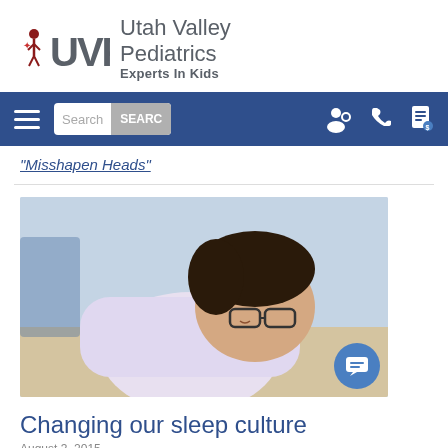[Figure (logo): Utah Valley Pediatrics logo with UVP text and tagline 'Experts In Kids']
[Figure (screenshot): Navigation bar with hamburger menu, search box, and icons on blue background]
“Misshapen Heads”
[Figure (photo): A young man wearing glasses asleep with head resting on arms crossed over a stack of books]
Changing our sleep culture
August 3, 2015